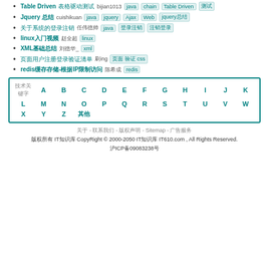Table Driven表格驱动测试 bijian1013 java chain Table Driven 测试
Jquery 总结 cuishikuan java jquery Ajax Web jquery总结
关于系统的登录注销 任伟德帅 java 登录注销 注销登录
linux入门视频 赵全超 linux
XML基础总结 刘德华_ xml
页面用户注册登录验证清单 刷ing 页面 验证 css
redis缓存存储-根据IP限制访问 陈希成 redis
| 技术关键字 | A | B | C | D | E | F | G | H | I | J | K | L | M | N | O | P | Q | R | S | T | U | V | W | X | Y | Z | 其他 |
| --- | --- | --- | --- | --- | --- | --- | --- | --- | --- | --- | --- | --- | --- | --- | --- | --- | --- | --- | --- | --- | --- | --- | --- | --- | --- | --- | --- |
关于 - 联系我们 - 版权声明 - Sitemap - 广告服务
版权所有 IT知识库 CopyRight © 2000-2050 IT知识库 IT610.com , All Rights Reserved.
沪ICP备09083238号